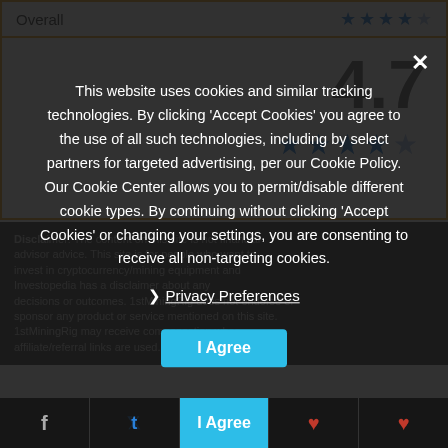Overall
[Figure (other): 4.7 star rating display with large number 4.7 and 4.5 blue stars]
Disclaimer: [partially obscured text about financial advisor, investment, decisions, sponsorship, 1stMiningRig may receive compensation when affiliate/referral links are used.]
This website uses cookies and similar tracking technologies. By clicking 'Accept Cookies' you agree to the use of all such technologies, including by select partners for targeted advertising, per our Cookie Policy. Our Cookie Center allows you to permit/disable different cookie types. By continuing without clicking 'Accept Cookies' or changing your settings, you are consenting to receive all non-targeting cookies.
❯ Privacy Preferences
I Agree